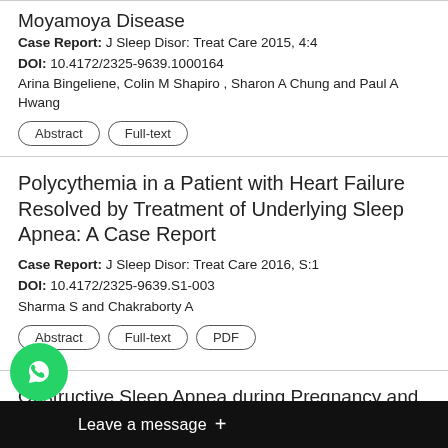Moyamoya Disease
Case Report: J Sleep Disor: Treat Care 2015, 4:4
DOI: 10.4172/2325-9639.1000164
Arina Bingeliene, Colin M Shapiro , Sharon A Chung and Paul A Hwang
Abstract
Full-text
Polycythemia in a Patient with Heart Failure Resolved by Treatment of Underlying Sleep Apnea: A Case Report
Case Report: J Sleep Disor: Treat Care 2016, S:1
DOI: 10.4172/2325-9639.S1-003
Sharma S and Chakraborty A
Abstract
Full-text
PDF
Obstructive Sleep Apnea during Pregnancy and Morbidity Outcome
Research Article: J Sleep Disor: Treat Care 2015, 4:2
Poj P...